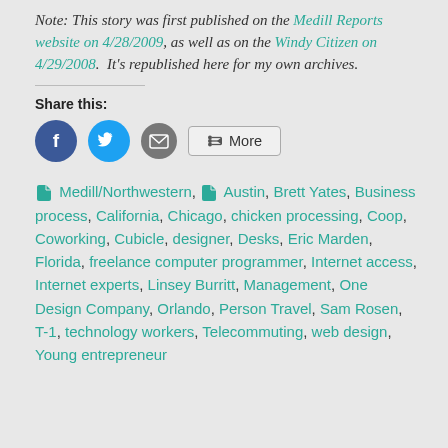Note: This story was first published on the Medill Reports website on 4/28/2009, as well as on the Windy Citizen on 4/29/2008.  It's republished here for my own archives.
Share this:
[Figure (infographic): Social share buttons: Facebook (blue circle with F), Twitter (blue circle with bird), Email (grey circle with envelope), More button with share icon]
Medill/Northwestern, Austin, Brett Yates, Business process, California, Chicago, chicken processing, Coop, Coworking, Cubicle, designer, Desks, Eric Marden, Florida, freelance computer programmer, Internet access, Internet experts, Linsey Burritt, Management, One Design Company, Orlando, Person Travel, Sam Rosen, T-1, technology workers, Telecommuting, web design, Young entrepreneur